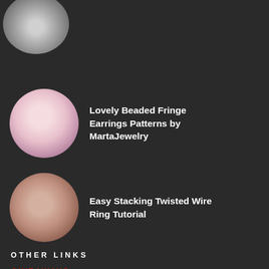[Figure (photo): Partial circular image of crystals/beads at top left, cropped]
[Figure (photo): Circular thumbnail of beaded fringe earring patterns by MartaJewelry]
Lovely Beaded Fringe Earrings Patterns by MartaJewelry
[Figure (photo): Circular thumbnail of twisted wire ring on finger]
Easy Stacking Twisted Wire Ring Tutorial
OTHER LINKS
GIVEAWAYS
GEMSTONE PLACENAMES